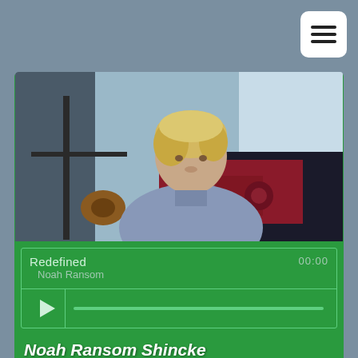[Figure (other): Hamburger menu button (three horizontal bars) in white rounded rectangle, top right corner]
[Figure (photo): Photo of a young man with blond hair sitting indoors on a couch, wearing a light blue/gray shirt. Background shows furniture and windows.]
Redefined
Noah Ransom
00:00
Noah Ransom Shincke
11/3/1995 - 7/11/2016
The last time I spoke to my son was at 2:02am on July 11, 2016 when diving into my notifications as I...